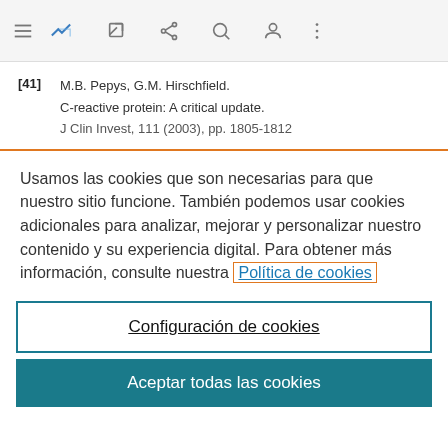Navigation bar with icons: hamburger menu, chart/analytics icon (active, blue), edit icon, share icon, search icon, user icon, more options icon
[41]   M.B. Pepys, G.M. Hirschfield.
   C-reactive protein: A critical update.
   J Clin Invest, 111 (2003), pp. 1805-1812
Usamos las cookies que son necesarias para que nuestro sitio funcione. También podemos usar cookies adicionales para analizar, mejorar y personalizar nuestro contenido y su experiencia digital. Para obtener más información, consulte nuestra Política de cookies
Configuración de cookies
Aceptar todas las cookies